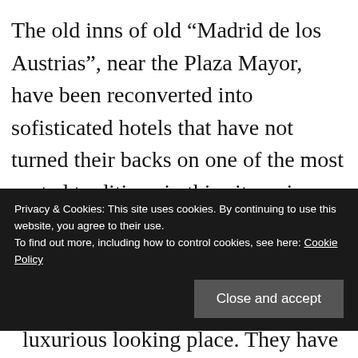The old inns of old “Madrid de los Austrias”, near the Plaza Mayor, have been reconverted into sofisticated hotels that have not turned their backs on one of the most rooted traditions in this city: wine. La Posada del León de Oro is one of those hostels of the late nineteenth century, crossed by the Christian
Privacy & Cookies: This site uses cookies. By continuing to use this website, you agree to their use.
To find out more, including how to control cookies, see here: Cookie Policy
luxurious looking place. They have